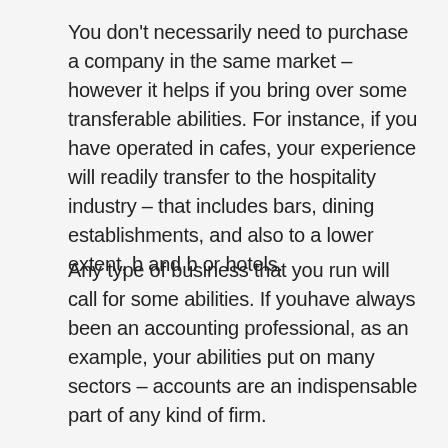You don't necessarily need to purchase a company in the same market – however it helps if you bring over some transferable abilities. For instance, if you have operated in cafes, your experience will readily transfer to the hospitality industry – that includes bars, dining establishments, and also to a lower extent, b and b or hotels.
Any type of business that you run will call for some abilities. If youhave always been an accounting professional, as an example, your abilities put on many sectors – accounts are an indispensable part of any kind of firm.